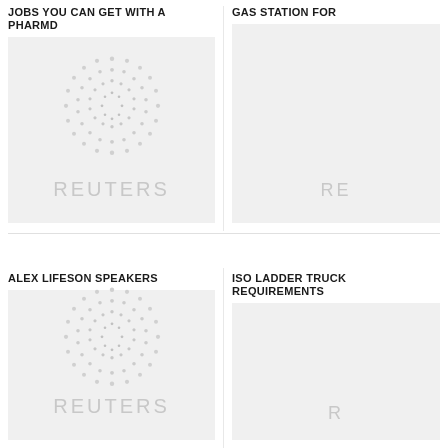JOBS YOU CAN GET WITH A PHARMD
[Figure (photo): Reuters placeholder image with dot-circle logo and REUTERS watermark text]
GAS STATION FOR
[Figure (photo): Reuters placeholder image with REUTERS watermark text (partially visible)]
ALEX LIFESON SPEAKERS
[Figure (photo): Reuters placeholder image with dot-circle logo and REUTERS watermark text]
ISO LADDER TRUCK REQUIREMENTS
[Figure (photo): Reuters placeholder image with REUTERS watermark text (partially visible)]